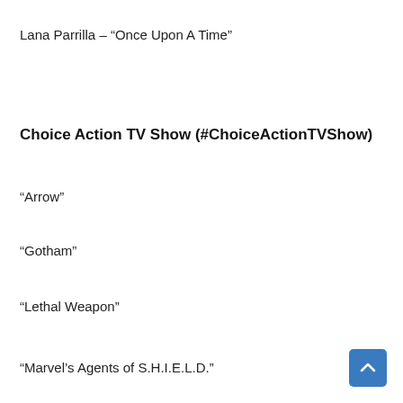Lana Parrilla – “Once Upon A Time”
Choice Action TV Show (#ChoiceActionTVShow)
“Arrow”
“Gotham”
“Lethal Weapon”
“Marvel’s Agents of S.H.I.E.L.D.”